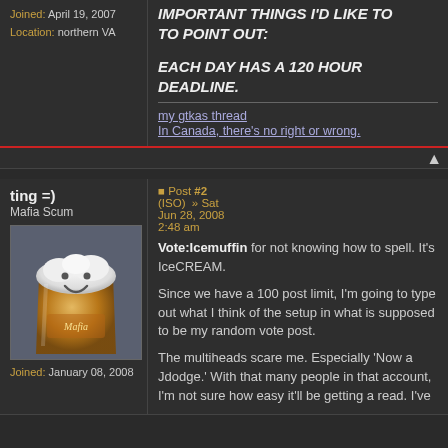Joined: April 19, 2007
Location: northern VA
IMPORTANT THINGS I'D LIKE TO POINT OUT: EACH DAY HAS A 120 HOUR DEADLINE.
my gtkas thread
In Canada, there's no right or wrong.
ting =)
Mafia Scum
Post #2 (ISO) » Sat Jun 28, 2008 2:48 am
[Figure (photo): Avatar image showing a beer glass with a smiley face made of foam, amber/gold color]
Joined: January 08, 2008
Vote:Icemuffin for not knowing how to spell. It's IceCREAM.
Since we have a 100 post limit, I'm going to type out what I think of the setup in what is supposed to be my random vote post.
The multiheads scare me. Especially 'Now a Jdodge.' With that many people in that account, I'm not sure how easy it'll be getting a read. I've